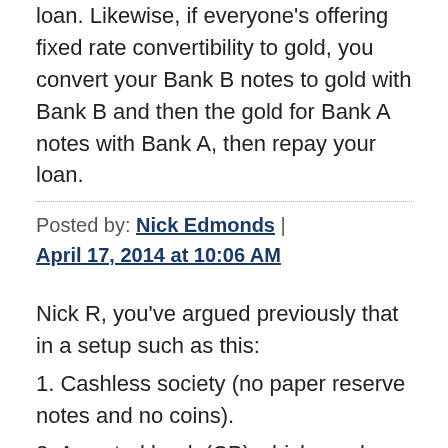loan. Likewise, if everyone's offering fixed rate convertibility to gold, you convert your Bank B notes to gold with Bank B and then the gold for Bank A notes with Bank A, then repay your loan.
Posted by: Nick Edmonds | April 17, 2014 at 10:06 AM
Nick R, you've argued previously that in a setup such as this:
1. Cashless society (no paper reserve notes and no coins).
2. A central bank (CB) which can buy and sell assets (open market operations (OMOs)).